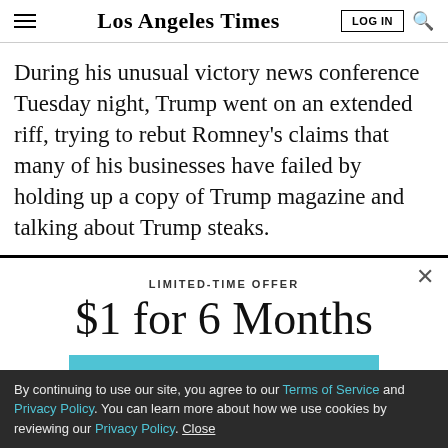Los Angeles Times
During his unusual victory news conference Tuesday night, Trump went on an extended riff, trying to rebut Romney's claims that many of his businesses have failed by holding up a copy of Trump magazine and talking about Trump steaks.
LIMITED-TIME OFFER
$1 for 6 Months
SUBSCRIBE NOW
By continuing to use our site, you agree to our Terms of Service and Privacy Policy. You can learn more about how we use cookies by reviewing our Privacy Policy. Close